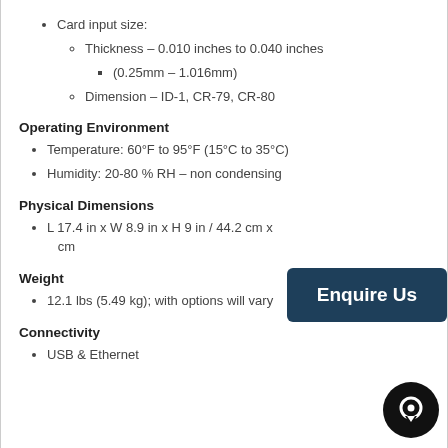Card input size:
Thickness – 0.010 inches to 0.040 inches
(0.25mm – 1.016mm)
Dimension – ID-1, CR-79, CR-80
Operating Environment
Temperature: 60°F to 95°F (15°C to 35°C)
Humidity: 20-80 % RH – non condensing
Physical Dimensions
L 17.4 in x W 8.9 in x H 9 in / 44.2 cm x cm
Weight
12.1 lbs (5.49 kg); with options will vary
Connectivity
USB & Ethernet